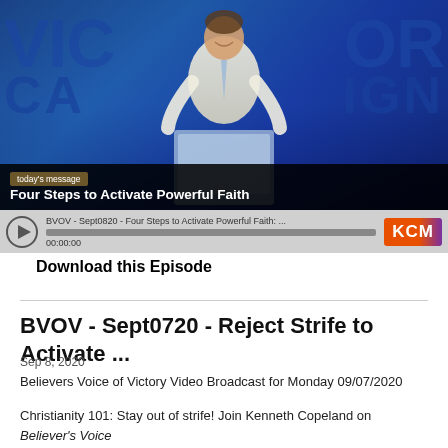[Figure (screenshot): Video player screenshot showing a man in a white suit speaking at a podium on a blue stage with 'VICTORY CAMPAIGN' text in background. Overlay shows 'today's message' badge and title 'Four Steps to Activate Powerful Faith'. Below is an audio/video player bar with BVOV episode title, progress bar, timestamp 00:00:00, and KCM logo.]
Download this Episode
BVOV - Sept0720 - Reject Strife to Activate ...
Sep 8, 2020
Believers Voice of Victory Video Broadcast for Monday 09/07/2020
Christianity 101: Stay out of strife! Join Kenneth Copeland on Believer's Voice of Victory as he teaches you to reject strife to activate your faith...